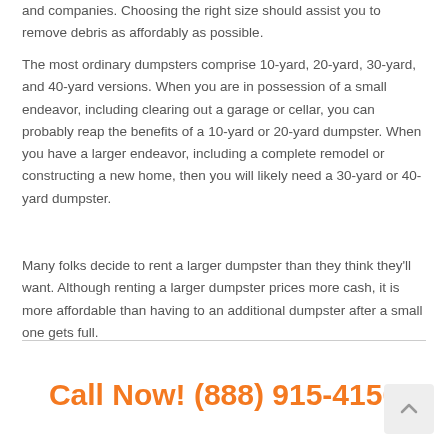and companies. Choosing the right size should assist you to remove debris as affordably as possible.
The most ordinary dumpsters comprise 10-yard, 20-yard, 30-yard, and 40-yard versions. When you are in possession of a small endeavor, including clearing out a garage or cellar, you can probably reap the benefits of a 10-yard or 20-yard dumpster. When you have a larger endeavor, including a complete remodel or constructing a new home, then you will likely need a 30-yard or 40-yard dumpster.
Many folks decide to rent a larger dumpster than they think they'll want. Although renting a larger dumpster prices more cash, it is more affordable than having to an additional dumpster after a small one gets full.
Call Now! (888) 915-4150